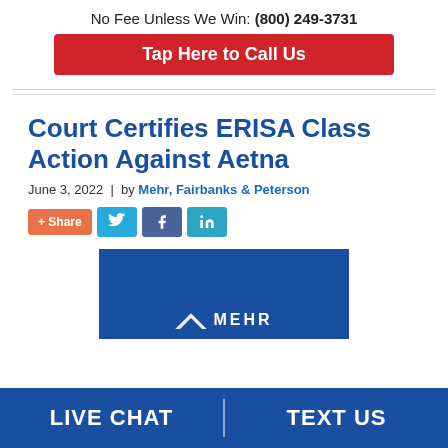No Fee Unless We Win: (800) 249-3731
Tap Here to Call Us
Court Certifies ERISA Class Action Against Aetna
June 3, 2022 | by Mehr, Fairbanks & Peterson
[Figure (screenshot): Social sharing buttons: + Share, Twitter, Facebook, LinkedIn]
[Figure (logo): Mehr law firm logo on blue background]
LIVE CHAT
TEXT US